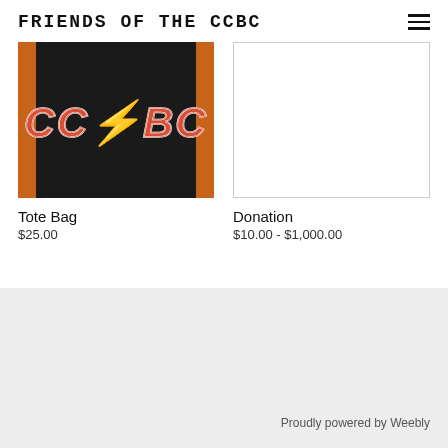FRIENDS OF THE CCBC
[Figure (photo): Black tote bag with CCBC logo in AC/DC style red lightning bolt lettering on orange background]
[Figure (photo): White/blank placeholder image for Donation product]
Tote Bag
$25.00
Donation
$10.00 - $1,000.00
Proudly powered by Weebly